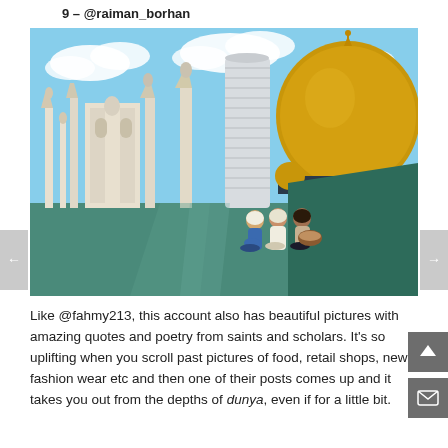9 – @raiman_borhan
[Figure (photo): Three men sitting on a green rooftop of a mosque, with mosque minarets and a golden dome visible in the background, along with a modern cylindrical skyscraper and blue sky with clouds.]
Like @fahmy213, this account also has beautiful pictures with amazing quotes and poetry from saints and scholars. It's so uplifting when you scroll past pictures of food, retail shops, new fashion wear etc and then one of their posts comes up and it takes you out from the depths of dunya, even if for a little bit.